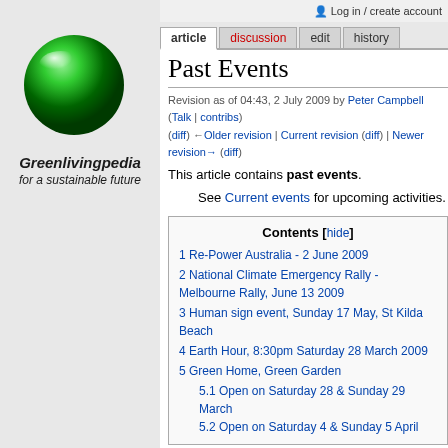[Figure (logo): Greenlivingpedia green sphere logo with site name and tagline]
Log in / create account
article | discussion | edit | history
Past Events
Revision as of 04:43, 2 July 2009 by Peter Campbell (Talk | contribs)
(diff) ←Older revision | Current revision (diff) | Newer revision→ (diff)
This article contains past events.
See Current events for upcoming activities.
| Contents [hide] |
| --- |
| 1 Re-Power Australia - 2 June 2009 |
| 2 National Climate Emergency Rally - Melbourne Rally, June 13 2009 |
| 3 Human sign event, Sunday 17 May, St Kilda Beach |
| 4 Earth Hour, 8:30pm Saturday 28 March 2009 |
| 5 Green Home, Green Garden |
| 5.1 Open on Saturday 28 & Sunday 29 March |
| 5.2 Open on Saturday 4 & Sunday 5 April |